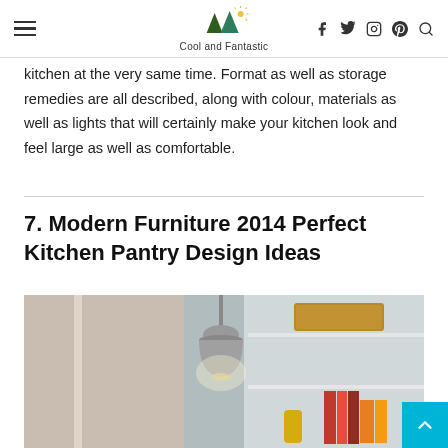Cool and Fantastic
kitchen at the very same time. Format as well as storage remedies are all described, along with colour, materials as well as lights that will certainly make your kitchen look and feel large as well as comfortable.
7. Modern Furniture 2014 Perfect Kitchen Pantry Design Ideas
[Figure (photo): Interior photo of a kitchen pantry with a metal pendant light hanging in center, and shelves with baskets, books, and decorative items on the right side]